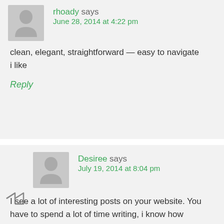rhoady says
June 28, 2014 at 4:22 pm
clean, elegant, straightforward — easy to navigate
i like
Reply
Desiree says
July 19, 2014 at 8:04 pm
I see a lot of interesting posts on your website. You have to spend a lot of time writing, i know how